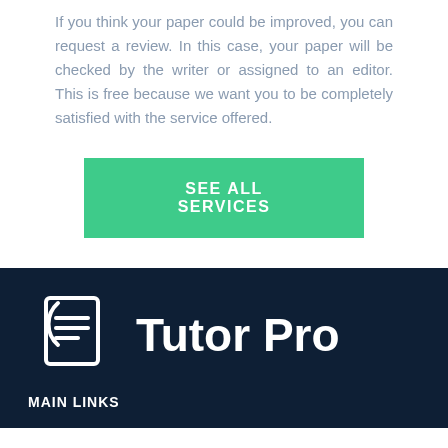If you think your paper could be improved, you can request a review. In this case, your paper will be checked by the writer or assigned to an editor. This is free because we want you to be completely satisfied with the service offered.
[Figure (other): Green button labeled SEE ALL SERVICES]
[Figure (logo): Tutor Pro logo with document/clipboard icon on dark navy background, with MAIN LINKS label below]